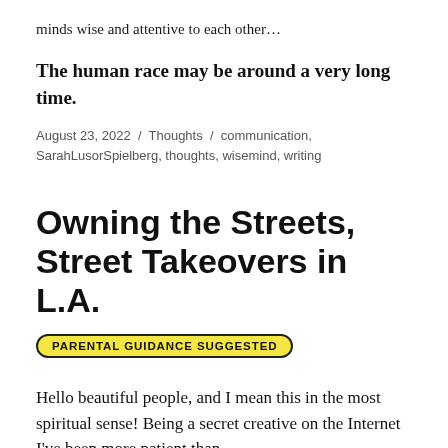minds wise and attentive to each other…
The human race may be around a very long time.
August 23, 2022 / Thoughts / communication, SarahLusorSpielberg, thoughts, wisemind, writing
Owning the Streets, Street Takeovers in L.A.
PARENTAL GUIDANCE SUGGESTED
Hello beautiful people, and I mean this in the most spiritual sense! Being a secret creative on the Internet I've been more patient than